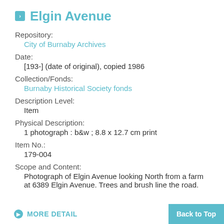Elgin Avenue
Repository:
City of Burnaby Archives
Date:
[193-] (date of original), copied 1986
Collection/Fonds:
Burnaby Historical Society fonds
Description Level:
Item
Physical Description:
1 photograph : b&w ; 8.8 x 12.7 cm print
Item No.:
179-004
Scope and Content:
Photograph of Elgin Avenue looking North from a farm at 6389 Elgin Avenue. Trees and brush line the road.
MORE DETAIL
Back to Top